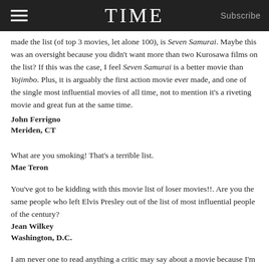TIME  Subscribe
made the list (of top 3 movies, let alone 100), is Seven Samurai. Maybe this was an oversight because you didn't want more than two Kurosawa films on the list? If this was the case, I feel Seven Samurai is a better movie than Yojimbo. Plus, it is arguably the first action movie ever made, and one of the single most influential movies of all time, not to mention it's a riveting movie and great fun at the same time.
John Ferrigno
Meriden, CT
What are you smoking! That's a terrible list.
Mae Teron
You've got to be kidding with this movie list of loser movies!!. Are you the same people who left Elvis Presley out of the list of most influential people of the century?
Jean Wilkey
Washington, D.C.
I am never one to read anything a critic may say about a movie because I'm...